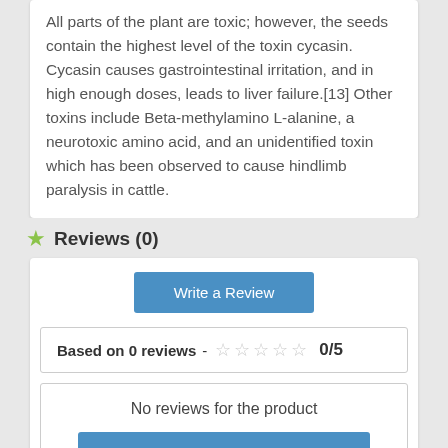All parts of the plant are toxic; however, the seeds contain the highest level of the toxin cycasin. Cycasin causes gastrointestinal irritation, and in high enough doses, leads to liver failure.[13] Other toxins include Beta-methylamino L-alanine, a neurotoxic amino acid, and an unidentified toxin which has been observed to cause hindlimb paralysis in cattle.
Reviews (0)
Write a Review
Based on 0 reviews - ☆ ☆ ☆ ☆ ☆ 0/5
No reviews for the product
Be the first to write your review !